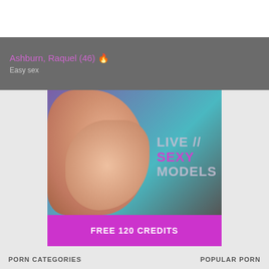Ashburn, Raquel (46) 🔥
Easy sex
[Figure (photo): Adult advertisement image showing LIVE SEXY MODELS with FREE 120 CREDITS button]
PORN CATEGORIES
POPULAR PORN